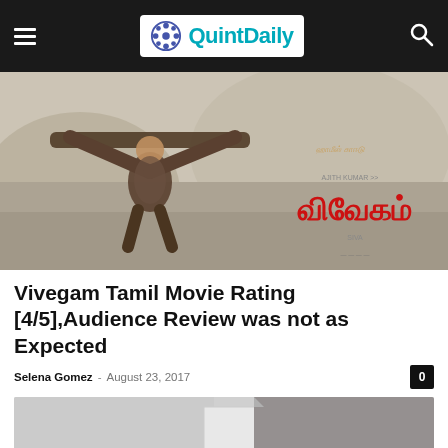QuintDaily
[Figure (photo): Movie poster for Vivegam Tamil film featuring a man lifting a log overhead with Tamil script title in red on the right side]
Vivegam Tamil Movie Rating [4/5],Audience Review was not as Expected
Selena Gomez – August 23, 2017
[Figure (photo): Partial view of a second image at the bottom of the article]